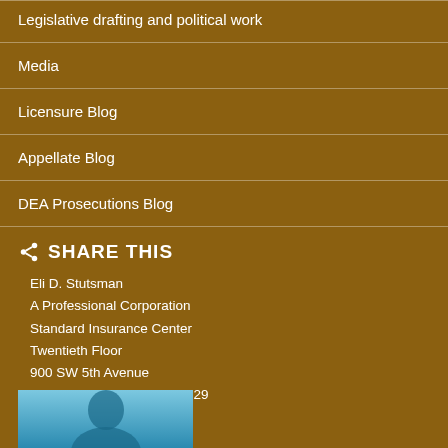Legislative drafting and political work
Media
Licensure Blog
Appellate Blog
DEA Prosecutions Blog
SHARE THIS
Eli D. Stutsman
A Professional Corporation
Standard Insurance Center
Twentieth Floor
900 SW 5th Avenue
Portland, Oregon 97204-1229
503.274.4048
Connect on LinkedIn
[Figure (photo): Partial photo of a person, visible at the bottom of the page]